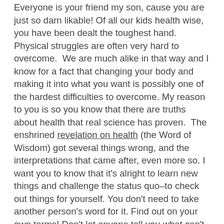Everyone is your friend my son, cause you are just so darn likable! Of all our kids health wise, you have been dealt the toughest hand. Physical struggles are often very hard to overcome.  We are much alike in that way and I know for a fact that changing your body and making it into what you want is possibly one of the hardest difficulties to overcome. My reason to you is so you know that there are truths about health that real science has proven.  The enshrined revelation on health (the Word of Wisdom) got several things wrong, and the interpretations that came after, even more so. I want you to know that it's alright to learn new things and challenge the status quo–to check out things for yourself. You don't need to take another person's word for it. Find out on your own terms! Don't let anyone tell you what can't be done.  Instead, go about  doing it.
To my daughter, the strong willed: